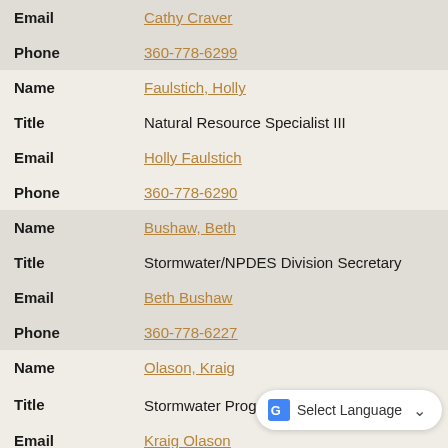| Field | Value |
| --- | --- |
| Email | Cathy Craver |
| Phone | 360-778-6299 |
| Name | Faulstich, Holly |
| Title | Natural Resource Specialist III |
| Email | Holly Faulstich |
| Phone | 360-778-6290 |
| Name | Bushaw, Beth |
| Title | Stormwater/NPDES Division Secretary |
| Email | Beth Bushaw |
| Phone | 360-778-6227 |
| Name | Olason, Kraig |
| Title | Stormwater Program Manager |
| Email | Kraig Olason |